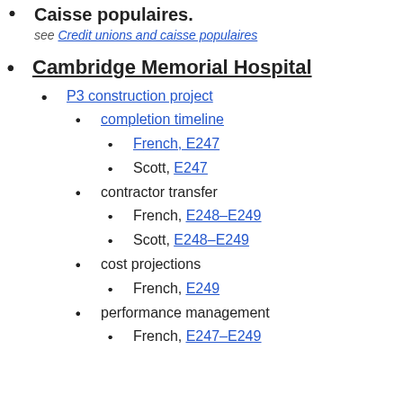Caisse populaires.
see Credit unions and caisse populaires
Cambridge Memorial Hospital
P3 construction project
completion timeline
French, E247
Scott, E247
contractor transfer
French, E248–E249
Scott, E248–E249
cost projections
French, E249
performance management
French, E247–E249 (partial, cut off)